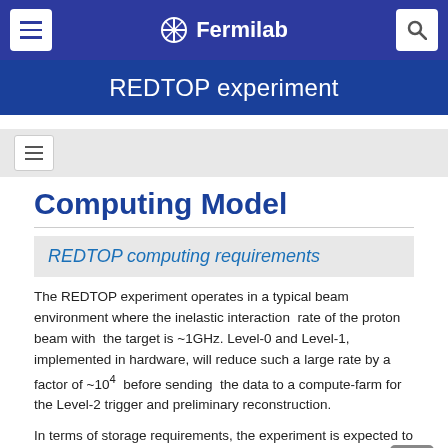Fermilab
REDTOP experiment
Computing Model
REDTOP computing requirements
The REDTOP experiment operates in a typical beam environment where the inelastic interaction rate of the proton beam with the target is ~1GHz. Level-0 and Level-1, implemented in hardware, will reduce such a large rate by a factor of ~10⁴ before sending the data to a compute-farm for the Level-2 trigger and preliminary reconstruction.
In terms of storage requirements, the experiment is expected to generate approximately 2.5 PB of production data and approximately